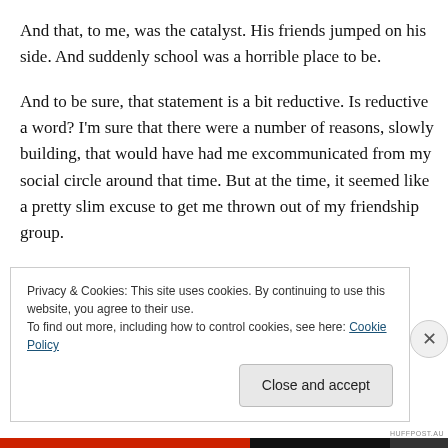And that, to me, was the catalyst. His friends jumped on his side. And suddenly school was a horrible place to be.
And to be sure, that statement is a bit reductive. Is reductive a word? I'm sure that there were a number of reasons, slowly building, that would have had me excommunicated from my social circle around that time. But at the time, it seemed like a pretty slim excuse to get me thrown out of my friendship group.
Privacy & Cookies: This site uses cookies. By continuing to use this website, you agree to their use.
To find out more, including how to control cookies, see here: Cookie Policy